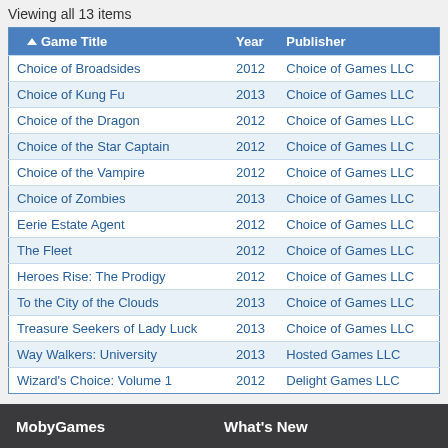Viewing all 13 items
| Game Title | Year | Publisher |
| --- | --- | --- |
| Choice of Broadsides | 2012 | Choice of Games LLC |
| Choice of Kung Fu | 2013 | Choice of Games LLC |
| Choice of the Dragon | 2012 | Choice of Games LLC |
| Choice of the Star Captain | 2012 | Choice of Games LLC |
| Choice of the Vampire | 2012 | Choice of Games LLC |
| Choice of Zombies | 2013 | Choice of Games LLC |
| Eerie Estate Agent | 2012 | Choice of Games LLC |
| The Fleet | 2012 | Choice of Games LLC |
| Heroes Rise: The Prodigy | 2012 | Choice of Games LLC |
| To the City of the Clouds | 2013 | Choice of Games LLC |
| Treasure Seekers of Lady Luck | 2013 | Choice of Games LLC |
| Way Walkers: University | 2013 | Hosted Games LLC |
| Wizard's Choice: Volume 1 | 2012 | Delight Games LLC |
MobyGames
What's New
Home
FAQ
Standards
API
Contact
New Games
Game Updates
New Reviews
New Companies
Changelog